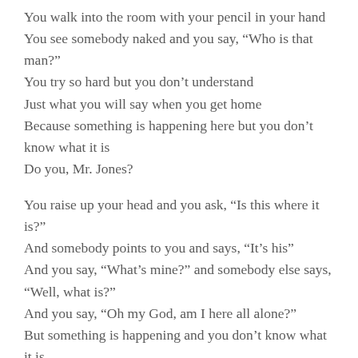You walk into the room with your pencil in your hand
You see somebody naked and you say, “Who is that man?”
You try so hard but you don’t understand
Just what you will say when you get home
Because something is happening here but you don’t know what it is
Do you, Mr. Jones?
You raise up your head and you ask, “Is this where it is?”
And somebody points to you and says, “It’s his”
And you say, “What’s mine?” and somebody else says, “Well, what is?”
And you say, “Oh my God, am I here all alone?”
But something is happening and you don’t know what it is
Do you, Mr. Jones?